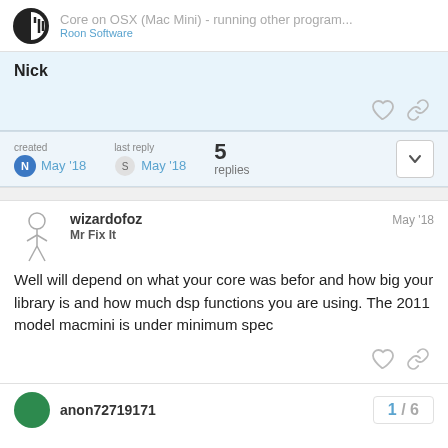Core on OSX (Mac Mini) - running other program... | Roon Software
Nick
created May '18  last reply May '18  5 replies
wizardofoz  Mr Fix It  May '18
Well will depend on what your core was befor and how big your library is and how much dsp functions you are using. The 2011 model macmini is under minimum spec
anon72719171  1 / 6